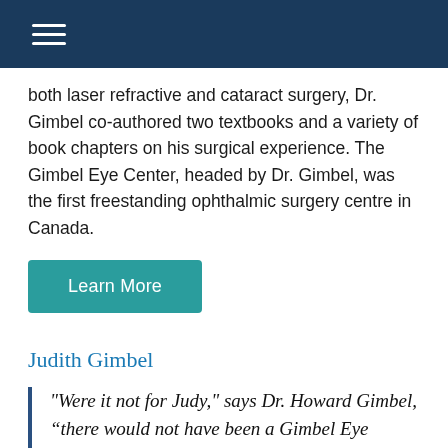both laser refractive and cataract surgery, Dr. Gimbel co-authored two textbooks and a variety of book chapters on his surgical experience. The Gimbel Eye Center, headed by Dr. Gimbel, was the first freestanding ophthalmic surgery centre in Canada.
Learn More
Judith Gimbel
"Were it not for Judy," says Dr. Howard Gimbel, “there would not have been a Gimbel Eye Centre.” For more than two decades, this remarkable woman has juggled the roles of wife, mother,